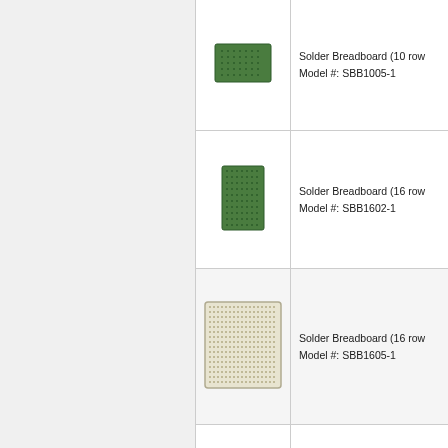[Figure (photo): Solder Breadboard small green PCB (10 row)]
Solder Breadboard (10 row
Model #: SBB1005-1
[Figure (photo): Solder Breadboard small green PCB (16 row, narrow)]
Solder Breadboard (16 row
Model #: SBB1602-1
[Figure (photo): Solder Breadboard large cream/white PCB with hole grid (16 row)]
Solder Breadboard (16 row
Model #: SBB1605-1
[Figure (photo): Solder Breadboard green PCB (28 row)]
Solder Breadboard (28 row
Model #: SBB2805-1
[Figure (photo): Solder Breadboard green PCB (28 row, wider)]
Solder Breadboard (28 row
Model #: SBB2808-1
[Figure (photo): Solder Breadboard SMT (80 row)]
Solder Breadboard (80 row
0.8" width SMT adapter